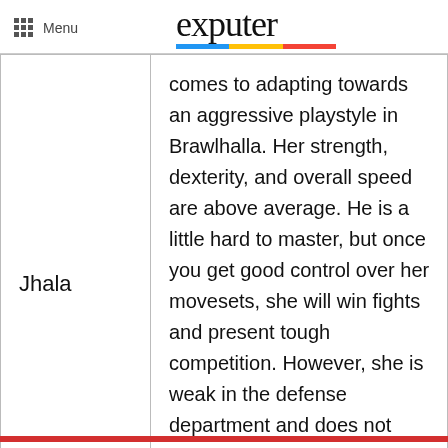Menu | exputer
| Name | Description |
| --- | --- |
| Jhala | comes to adapting towards an aggressive playstyle in Brawlhalla. Her strength, dexterity, and overall speed are above average. He is a little hard to master, but once you get good control over her movesets, she will win fights and present tough competition. However, she is weak in the defense department and does not absorb the incoming attacks well |